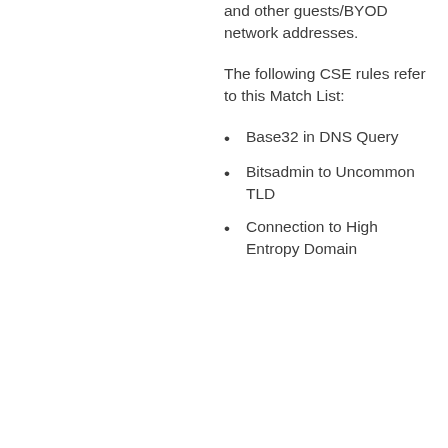and other guests/BYOD network addresses.
The following CSE rules refer to this Match List:
Base32 in DNS Query
Bitsadmin to Uncommon TLD
Connection to High Entropy Domain